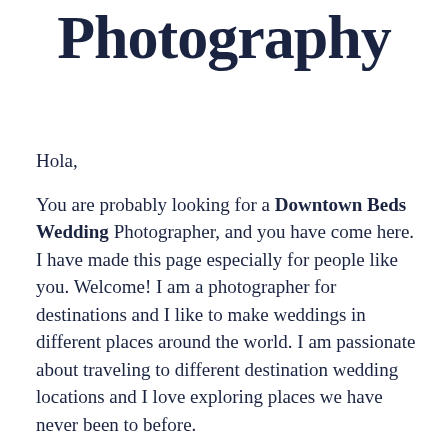Photography
Hola,
You are probably looking for a Downtown Beds Wedding Photographer, and you have come here. I have made this page especially for people like you. Welcome! I am a photographer for destinations and I like to make weddings in different places around the world. I am passionate about traveling to different destination wedding locations and I love exploring places we have never been to before.
Take a moment and check out my portfolio, how I work and what I deliver. You will notice that I like to travel and when people like you contact me, it